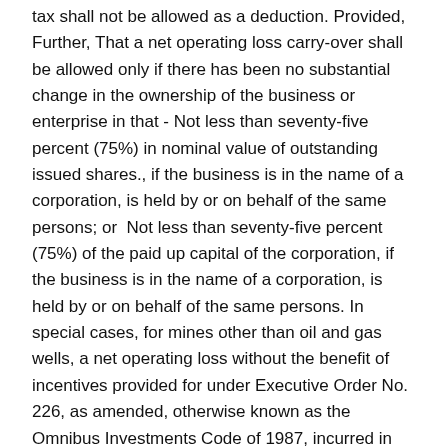tax shall not be allowed as a deduction. Provided, Further, That a net operating loss carry-over shall be allowed only if there has been no substantial change in the ownership of the business or enterprise in that - Not less than seventy-five percent (75%) in nominal value of outstanding issued shares., if the business is in the name of a corporation, is held by or on behalf of the same persons; or  Not less than seventy-five percent (75%) of the paid up capital of the corporation, if the business is in the name of a corporation, is held by or on behalf of the same persons. In special cases, for mines other than oil and gas wells, a net operating loss without the benefit of incentives provided for under Executive Order No. 226, as amended, otherwise known as the Omnibus Investments Code of 1987, incurred in any of the first ten (10) years of operation may be carried over as a deduction from taxable income for the next five (5) years immediately following the year of such loss. The entire amount of the